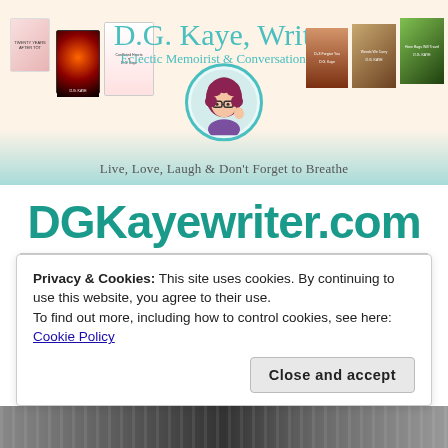[Figure (illustration): Website banner for D.G. Kaye, Writer. Beige and teal background with multiple book covers on left and right sides, a circular avatar of a cartoon woman with red curly hair and glasses in the center, script text reading 'D.G. Kaye, Writer' and 'Eclectic Memoirist & Conversationalist' at the top, and tagline 'Live, Love, Laugh & Don't Forget to Breathe' at the bottom.]
DGKayewriter.com
≡ MENU
Privacy & Cookies: This site uses cookies. By continuing to use this website, you agree to their use.
To find out more, including how to control cookies, see here: Cookie Policy
Close and accept
[Figure (photo): Partial view of a keyboard and electronic devices, appearing at the very bottom of the page.]